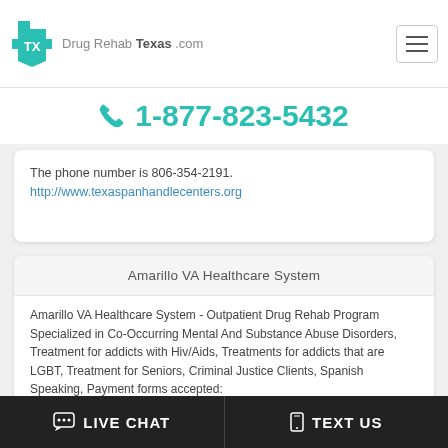Drug Rehab Texas .com
1-877-823-5432
The phone number is 806-354-2191.
http://www.texaspanhandlecenters.org
Amarillo VA Healthcare System
Amarillo VA Healthcare System - Outpatient Drug Rehab Program
Specialized in Co-Occurring Mental And Substance Abuse Disorders, Treatment for addicts with Hiv/Aids, Treatments for addicts that are LGBT, Treatment for Seniors, Criminal Justice Clients, Spanish Speaking, Payment forms accepted:
LIVE CHAT   TEXT US